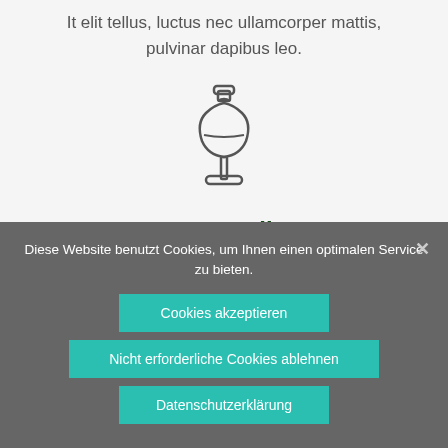It elit tellus, luctus nec ullamcorper mattis, pulvinar dapibus leo.
[Figure (illustration): Outline icon of a dress form / tailor mannequin in dark grey strokes on light grey background]
Best Quality
It elit tellus, luctus nec ullamcorper mattis, pulvinar dapibus leo.
Diese Website benutzt Cookies, um Ihnen einen optimalen Service zu bieten.
Cookies akzeptieren
Nicht erforderliche Cookies ablehnen
Datenschutzerklärung